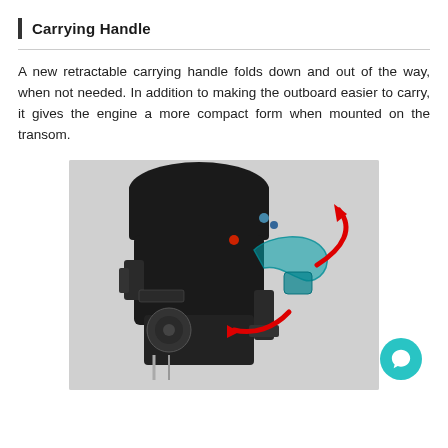Carrying Handle
A new retractable carrying handle folds down and out of the way, when not needed. In addition to making the outboard easier to carry, it gives the engine a more compact form when mounted on the transom.
[Figure (photo): Photo of an outboard engine showing a retractable carrying handle in two positions (raised and folded down), with a teal/blue translucent handle overlay and a red curved arrow indicating the folding motion.]